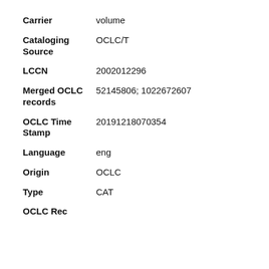Carrier: volume
Cataloging Source: OCLC/T
LCCN: 2002012296
Merged OCLC records: 52145806; 1022672607
OCLC Time Stamp: 20191218070354
Language: eng
Origin: OCLC
Type: CAT
OCLC Rec